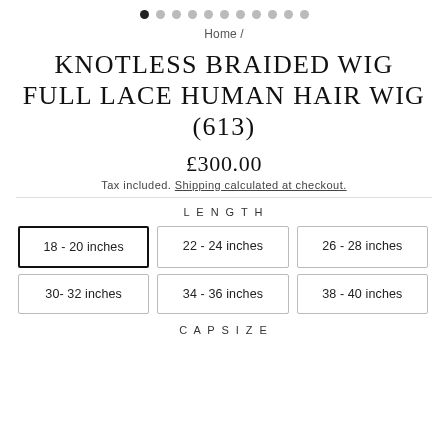[Figure (other): Carousel navigation dots, first dot active (filled), rest are grey]
Home /
KNOTLESS BRAIDED WIG FULL LACE HUMAN HAIR WIG (613)
£300.00
Tax included. Shipping calculated at checkout.
LENGTH
18 - 20 inches
22 - 24 inches
26 - 28 inches
30- 32 inches
34 - 36 inches
38 - 40 inches
CAP SIZE